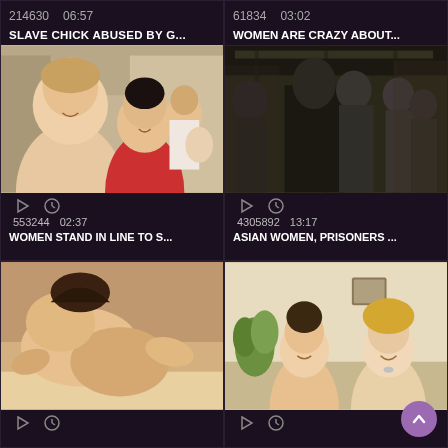214630   06:57
SLAVE CHICK ABUSED BY G...
61834   03:02
WOMEN ARE CRAZY ABOUT...
[Figure (photo): Group of women smiling in an office/studio setting]
553244   02:37
WOMEN STAND IN LINE TO S...
[Figure (photo): People in a subway or underground corridor]
4305892   13:17
ASIAN WOMEN, PRISONERS ...
[Figure (photo): Adult content thumbnail]
[Figure (photo): Two women in a room]